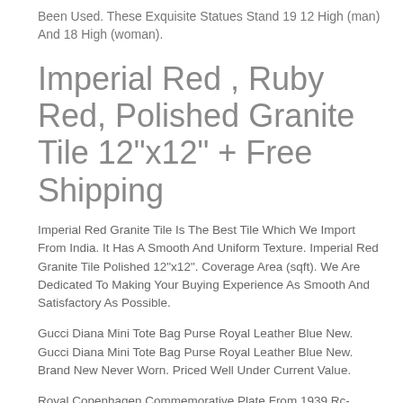Been Used. These Exquisite Statues Stand 19 12 High (man) And 18 High (woman).
Imperial Red , Ruby Red, Polished Granite Tile 12"x12" + Free Shipping
Imperial Red Granite Tile Is The Best Tile Which We Import From India. It Has A Smooth And Uniform Texture. Imperial Red Granite Tile Polished 12"x12". Coverage Area (sqft). We Are Dedicated To Making Your Buying Experience As Smooth And Satisfactory As Possible.
Gucci Diana Mini Tote Bag Purse Royal Leather Blue New. Gucci Diana Mini Tote Bag Purse Royal Leather Blue New. Brand New Never Worn. Priced Well Under Current Value.
Royal Copenhagen Commemorative Plate From 1939 Rc-cm286. And Is In Good Condition. If Nothing Is Noted About The Condition Of The Item We Have For Sale, Then The Item Will Be In Good Condition. All Other Countries Include South Korea, Japan, Australia, Singapore, Hong Kong, Taiwan And The Rest Of The World...